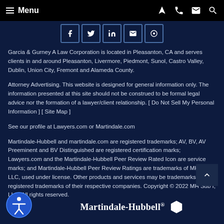≡ Menu
[Figure (other): Social media icons row: Facebook, Twitter/X, LinkedIn, Email, Pinterest]
Garcia & Gurney A Law Corporation is located in Pleasanton, CA and serves clients in and around Pleasanton, Livermore, Piedmont, Sunol, Castro Valley, Dublin, Union City, Fremont and Alameda County.
Attorney Advertising. This website is designed for general information only. The information presented at this site should not be construed to be formal legal advice nor the formation of a lawyer/client relationship. [ Do Not Sell My Personal Information ] [ Site Map ]
See our profile at Lawyers.com or Martindale.com
Martindale-Hubbell and martindale.com are registered trademarks; AV, BV, AV Preeminent and BV Distinguished are registered certification marks; Lawyers.com and the Martindale-Hubbell Peer Review Rated Icon are service marks; and Martindale-Hubbell Peer Review Ratings are trademarks of MH Sub I, LLC, used under license. Other products and services may be trademarks or registered trademarks of their respective companies. Copyright © 2022 MH Sub I, LLC. All rights reserved.
[Figure (logo): Martindale-Hubbell logo with hexagon icon]
[Figure (illustration): Accessibility icon - person in circle (blue)]